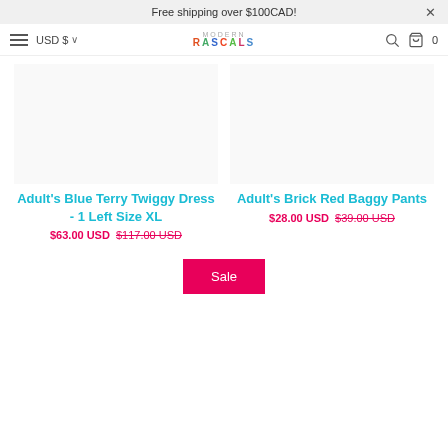Free shipping over $100CAD!
USD $ ∨
[Figure (logo): Modern Rascals logo with colorful letters]
Adult's Blue Terry Twiggy Dress - 1 Left Size XL
$63.00 USD $117.00 USD
Adult's Brick Red Baggy Pants
$28.00 USD $39.00 USD
Sale